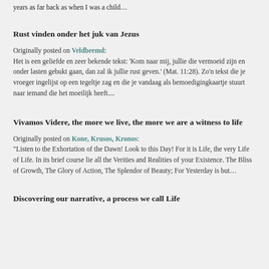years as far back as when I was a child…
Rust vinden onder het juk van Jezus
Originally posted on Veldbeemd: Het is een geliefde en zeer bekende tekst: 'Kom naar mij, jullie die vermoeid zijn en onder lasten gebukt gaan, dan zal ik jullie rust geven.' (Mat. 11:28). Zo'n tekst die je vroeger ingelijst op een tegeltje zag en die je vandaag als bemoedigingkaartje stuurt naar iemand die het moeilijk heeft....
Vivamos Videre, the more we live, the more we are a witness to life
Originally posted on Kone, Krusos, Kronos: "Listen to the Exhortation of the Dawn! Look to this Day! For it is Life, the very Life of Life. In its brief course lie all the Verities and Realities of your Existence. The Bliss of Growth, The Glory of Action, The Splendor of Beauty; For Yesterday is but…
Discovering our narrative, a process we call Life